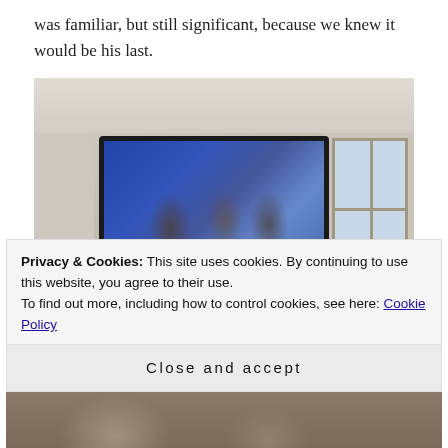was familiar, but still significant, because we knew it would be his last.
[Figure (photo): A living room with a flat-screen TV mounted on a beige/gray wall, showing a news broadcast (channel 46) with a lower-third banner. A soundbar sits below the TV on a white mantle. There is a decorative item to the right of the TV and a window visible on the right wall.]
Privacy & Cookies: This site uses cookies. By continuing to use this website, you agree to their use.
To find out more, including how to control cookies, see here: Cookie Policy
Close and accept
[Figure (photo): Partial view of another photo below, showing a dark scene, partially obscured by the cookie consent overlay.]